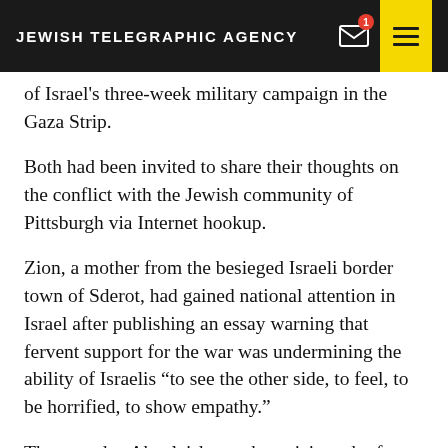JEWISH TELEGRAPHIC AGENCY
of Israel's three-week military campaign in the Gaza Strip.
Both had been invited to share their thoughts on the conflict with the Jewish community of Pittsburgh via Internet hookup.
Zion, a mother from the besieged Israeli border town of Sderot, had gained national attention in Israel after publishing an essay warning that fervent support for the war was undermining the ability of Israelis “to see the other side, to feel, to be horrified, to show empathy.”
The next day Abuelaish, an obstetrician who for years